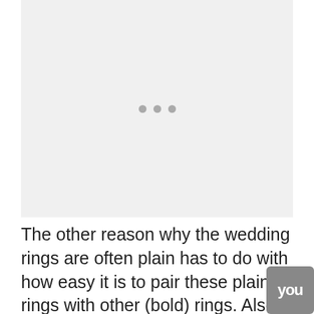[Figure (other): Image placeholder with three gray dots indicating a loading or carousel image area]
The other reason why the wedding rings are often plain has to do with how easy it is to pair these plain rings with other (bold) rings. Also, you could have the plain ring customized easily, making it more unique